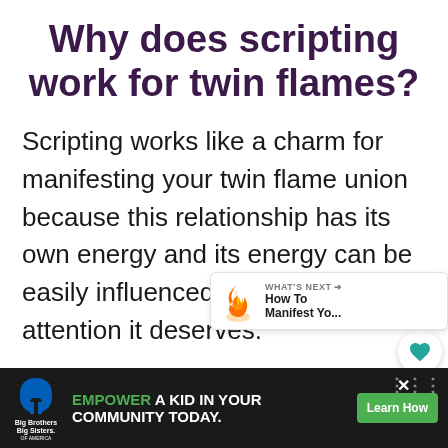Why does scripting work for twin flames?
Scripting works like a charm for manifesting your twin flame union because this relationship has its own energy and its energy can be easily influenced if you give it the attention it deserves.
Furthermore, scripting helps you activate your intention in a very deep way, meaning...